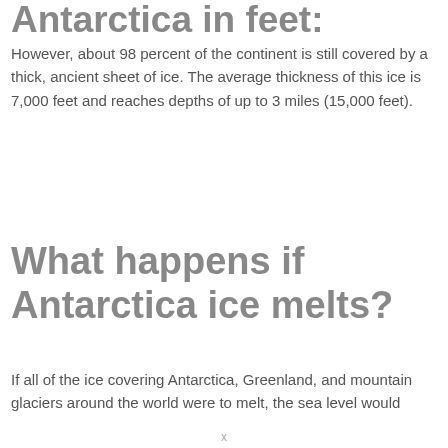Antarctica in feet:
However, about 98 percent of the continent is still covered by a thick, ancient sheet of ice. The average thickness of this ice is 7,000 feet and reaches depths of up to 3 miles (15,000 feet).
What happens if Antarctica ice melts?
If all of the ice covering Antarctica, Greenland, and mountain glaciers around the world were to melt, the sea level would